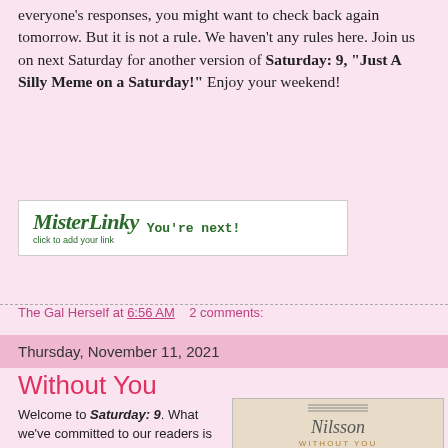everyone's responses, you might want to check back again tomorrow. But it is not a rule. We haven't any rules here. Join us on next Saturday for another version of Saturday: 9, "Just A Silly Meme on a Saturday!" Enjoy your weekend!
[Figure (other): Mister Linky widget box with logo text 'Mister Linky click to add your link' and 'You're next!' in green monospace text]
The Gal Herself at 6:56 AM   2 comments:
Thursday, November 11, 2021
Without You
Welcome to Saturday: 9. What we've committed to our readers is that we will post 9 questions every Saturday.
[Figure (photo): Album cover for Nilsson 'Without You' showing Nilsson text in italic script and 'WITHOUT YOU' in gold lettering on a light background]